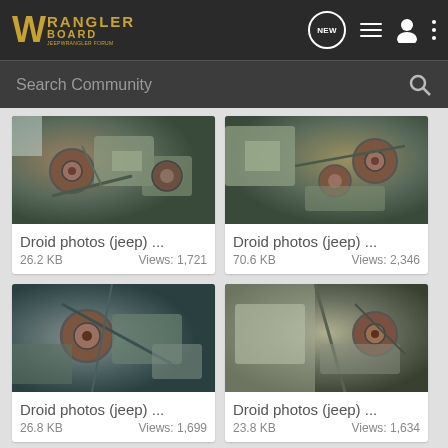[Figure (screenshot): Wrangler Board website header with logo, NEW message icon, list icon, person icon, and dots menu icon on dark background]
[Figure (screenshot): Search Community search bar on dark background with magnifying glass icon]
[Figure (photo): Droid photos (jeep) engine part close-up, 26.2 KB, Views: 1,721]
[Figure (photo): Droid photos (jeep) engine part close-up, 70.6 KB, Views: 2,346]
[Figure (photo): Droid photos (jeep) engine part close-up, 26.8 KB, Views: 1,699]
[Figure (photo): Droid photos (jeep) engine part close-up, 23.8 KB, Views: 1,634]
[Figure (photo): Partial photo of jeep engine part visible at bottom of page]